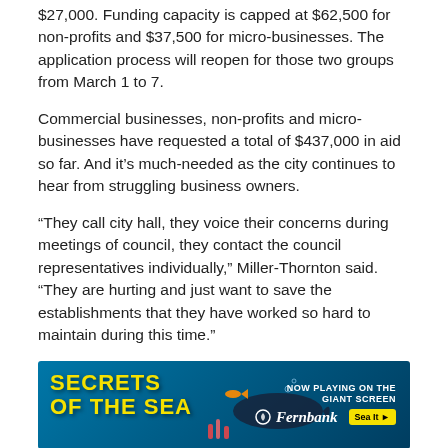$27,000. Funding capacity is capped at $62,500 for non-profits and $37,500 for micro-businesses. The application process will reopen for those two groups from March 1 to 7.
Commercial businesses, non-profits and micro-businesses have requested a total of $437,000 in aid so far. And it's much-needed as the city continues to hear from struggling business owners.
“They call city hall, they voice their concerns during meetings of council, they contact the council representatives individually,” Miller-Thornton said. “They are hurting and just want to save the establishments that they have worked so hard to maintain during this time.”
[Figure (advertisement): Secrets of the Sea advertisement - Now Playing on the Giant Screen at Fernbank. Blue ocean themed banner with fish, whale and coral imagery.]
[Figure (advertisement): Quinn Windows advertisement - Founded by family. Friendly and fun. Light blue banner with Quinn Windows branding.]
Stone Mountain’s commercial tax base is “significantly small,”